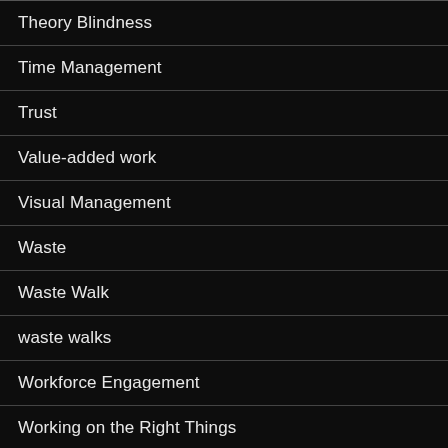Theory Blindness
Time Management
Trust
Value-added work
Visual Management
Waste
Waste Walk
waste walks
Workforce Engagement
Working on the Right Things
Proudly powered by WordPress